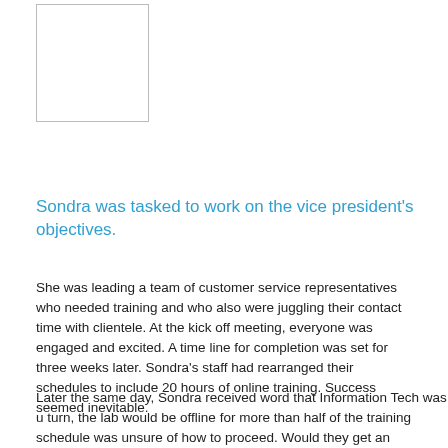[Figure (other): A white rectangle with a thin gray border, representing a placeholder image box.]
Sondra was tasked to work on the vice president's objectives.
She was leading a team of customer service representatives who needed training and who also were juggling their contact time with clientele.  At the kick off meeting, everyone was engaged and excited.  A time line for completion was set for three weeks later.  Sondra's staff had rearranged their schedules to include 20 hours of online training.  Success seemed inevitable.
Later the same day, Sondra received word that Information Tech was u turn, the lab would be offline for more than half of the training schedule was unsure of how to proceed. Would they get an extension? Did this training done? Was there overtime? Sondra had more questions than